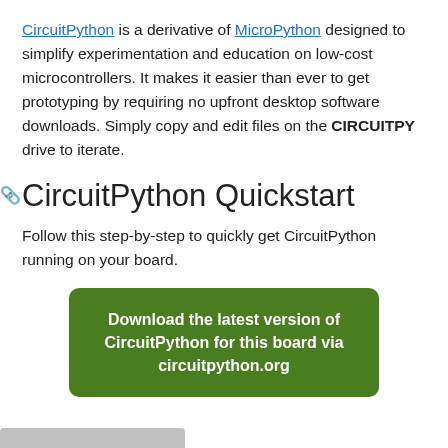CircuitPython is a derivative of MicroPython designed to simplify experimentation and education on low-cost microcontrollers. It makes it easier than ever to get prototyping by requiring no upfront desktop software downloads. Simply copy and edit files on the CIRCUITPY drive to iterate.
CircuitPython Quickstart
Follow this step-by-step to quickly get CircuitPython running on your board.
Download the latest version of CircuitPython for this board via circuitpython.org